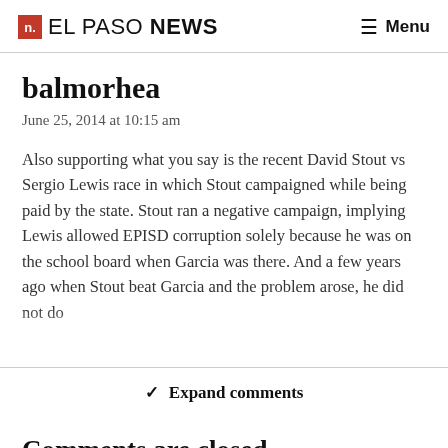n. EL PASO NEWS   ☰ Menu
balmorhea
June 25, 2014 at 10:15 am
Also supporting what you say is the recent David Stout vs Sergio Lewis race in which Stout campaigned while being paid by the state. Stout ran a negative campaign, implying Lewis allowed EPISD corruption solely because he was on the school board when Garcia was there. And a few years ago when Stout beat Garcia and the problem arose, he did not do
✓ Expand comments
Comments are closed.